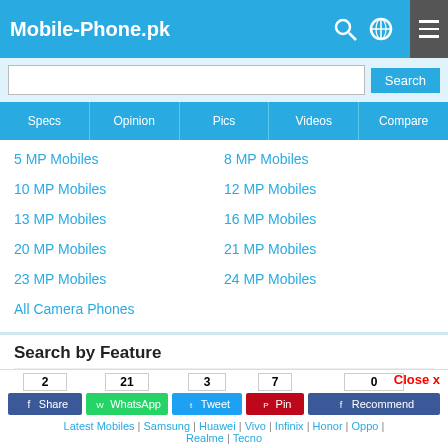Mobile-Phone.pk
Specs | Opinion | Pics | Videos | Compare
5 MP Mobiles
8 MP Mobiles
10 MP Mobiles
12 MP Mobiles
13 MP Mobiles
16 MP Mobiles
20 MP Mobiles
21 MP Mobiles
23 MP Mobiles
24 MP Mobiles
All Camera Phones
Search by Feature
Dual Sim Mobiles
Triple Sim Mobiles
2 Share  21 WhatsApp  3 Tweet  7 Pin  0 Recommend  Close x
Latest Mobiles | Samsung | Huawei | Vivo | Infinix | Honor | Oppo | Realme | Tecno